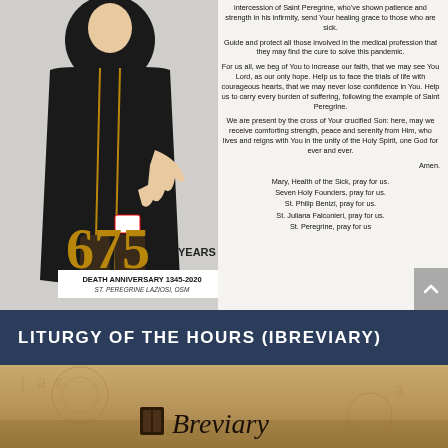[Figure (illustration): Statue of Saint Peregrine Laziosi in black robes with gold trim, pointing downward, with a wound on his leg visible. Anniversary badge showing '675 YEARS DEATH ANNIVERSARY 1345-2020 ST. PEREGRINE LAZIOSI, OSM' overlaid on lower portion.]
intercession of Saint Peregrine, who've shown patience and strength in his infirmity, send Your healing grace to those who are sick.

Guide and protect all those involved in the medical profession that they may find the cure to solve this pandemic.

For us all, we beg of You to increase our faith, that we may see You Lord, as our only hope. Help us to face the trials of life with courageous hearts, that we may never lose confidence in You. Help us to carry every burden of suffering, following the example of Saint Peregrine.

We are present by the cross of Your crucified Son: here, may we receive comforting strength, peace and serenity from Him, who lives and reigns with You in the unity of the Holy Spirit, one God for ever and ever.

Amen.

Mary, Health of the Sick, pray for us.
Seven Holy Founders, pray for us.
St. Philip Benizi, pray for us.
St. Juliana Falconieri, pray for us.
St. Peregrine, pray for us
LITURGY OF THE HOURS (IBREVIARY)
[Figure (screenshot): Breviary app screenshot/cover with golden-toned background showing ancient city and astrological symbols, with the text 'Breviary' in italic serif font with an icon to the left.]